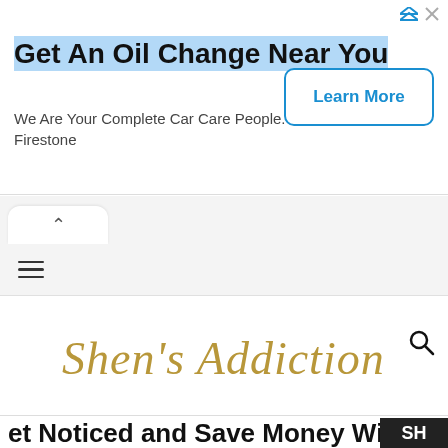[Figure (screenshot): Advertisement banner for Firestone oil change service with 'Get An Oil Change Near You' headline, 'Learn More' button, and 'We Are Your Complete Car Care People. Firestone' subtext, with ad icons in top right.]
[Figure (screenshot): Browser tab/collapse pill with upward chevron arrow on gray background.]
[Figure (screenshot): Navigation bar with hamburger menu icon (three horizontal lines) on gray background.]
[Figure (logo): Shen's Addiction cursive gold script logo with a search icon on the right.]
et Noticed and Save Money With ur Permanent Balloon Clusters
[Figure (screenshot): Dark 'SH' badge/label in lower right corner.]